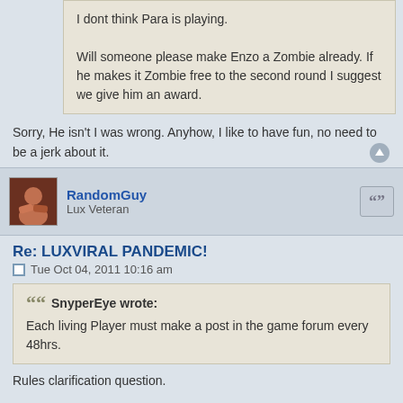I dont think Para is playing.

Will someone please make Enzo a Zombie already. If he makes it Zombie free to the second round I suggest we give him an award.
Sorry, He isn't I was wrong. Anyhow, I like to have fun, no need to be a jerk about it.
RandomGuy
Lux Veteran
Re: LUXVIRAL PANDEMIC!
Tue Oct 04, 2011 10:16 am
SnyperEye wrote:
Each living Player must make a post in the game forum every 48hrs.
Rules clarification question.

Does this mean you must post so that you never go 48 hours without posting (ie, no 48 hour gaps)

OR